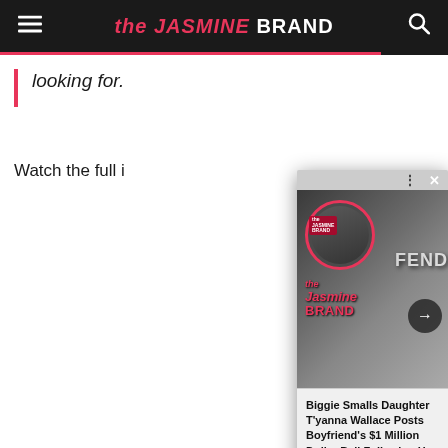the JASMINE BRAND
looking for.
Watch the full i
[Figure (screenshot): A news article card popup from The Jasmine Brand showing a photo of a man and a woman wearing a Fendi shirt. The card shows a navigation bar at top with dots and X close button, the Jasmine Brand logo overlay on the photo, a right arrow button, and at the bottom a white card with the title: Biggie Smalls Daughter T'yanna Wallace Posts Boyfriend's $1 Million Dollar Bail Following H...]
[Figure (other): Scroll to top button — dark rounded square with upward arrow icon]